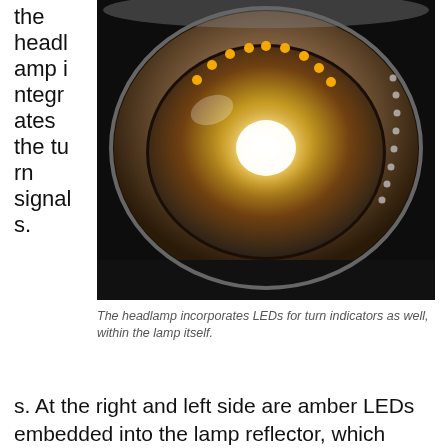the headlamp integrates the turn signals.
[Figure (photo): Close-up photograph of a vehicle headlamp showing amber LEDs arranged in a ring for turn indicators, with a bright central lamp element, all within a chrome reflector housing.]
The headlamp incorporates LEDs for turn indicators as well, within the lamp itself.
At the right and left side are amber LEDs embedded into the lamp reflector, which serve as turn signals and emergency flashers. At the center is the H4 LED conversion lamp, which incorporates a current driver, cooling fan, and controller circuiting that maintains full light output, even when battery/system voltage drops to as low as 9.8V. The tail-light includes